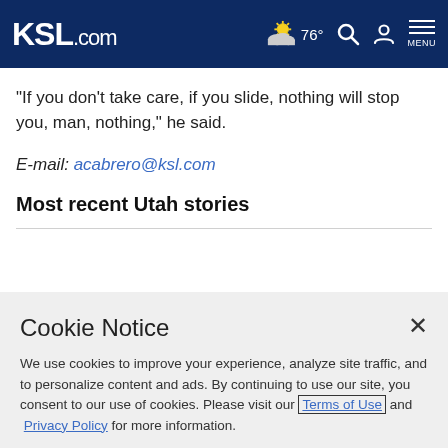KSL.com — 76° weather, search, account, menu
"If you don't take care, if you slide, nothing will stop you, man, nothing," he said.
E-mail: acabrero@ksl.com
Most recent Utah stories
Cookie Notice
We use cookies to improve your experience, analyze site traffic, and to personalize content and ads. By continuing to use our site, you consent to our use of cookies. Please visit our Terms of Use and Privacy Policy for more information.
Continue